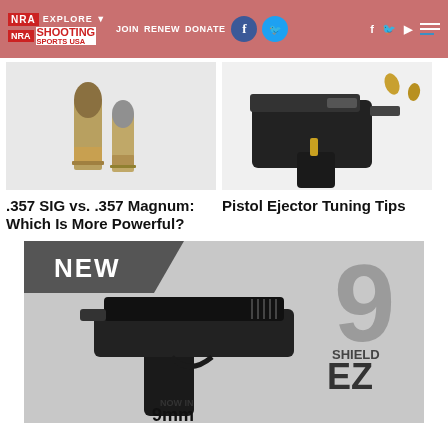NRA SHOOTING SPORTS USA | EXPLORE | JOIN | RENEW | DONATE
[Figure (photo): Two bullets/cartridges standing upright on a white background - .357 SIG vs .357 Magnum comparison]
[Figure (photo): Pistol frame/ejector mechanism with two brass cartridge casings flying out, on white background]
.357 SIG vs. .357 Magnum: Which Is More Powerful?
Pistol Ejector Tuning Tips
[Figure (photo): Advertisement for Smith & Wesson Shield EZ 9mm pistol. Shows black pistol with text: NEW, 9 SHIELD EZ, NOW IN 9mm]